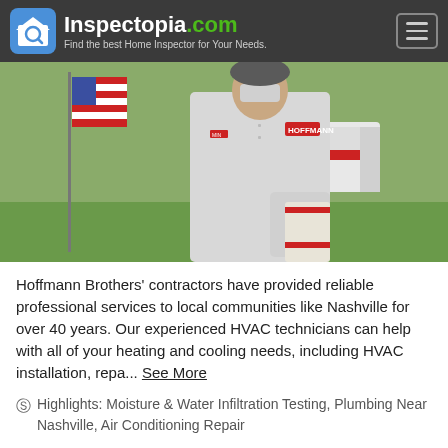[Figure (logo): Inspectopia.com logo with house/magnifying glass icon and tagline 'Find the best Home Inspector for Your Needs.']
[Figure (photo): Hoffmann Brothers contractor in white button-up shirt with company logo, standing outside near an American flag with company vehicles in background]
Hoffmann Brothers' contractors have provided reliable professional services to local communities like Nashville for over 40 years. Our experienced HVAC technicians can help with all of your heating and cooling needs, including HVAC installation, repa... See More
Highlights: Moisture & Water Infiltration Testing, Plumbing Near Nashville, Air Conditioning Repair